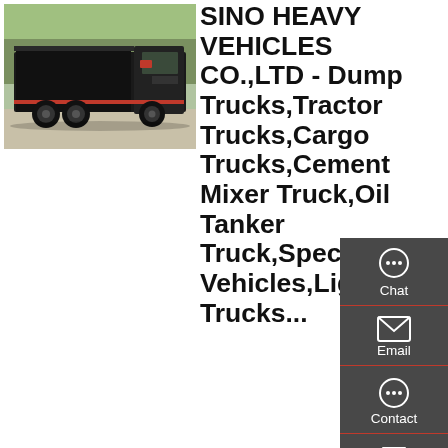[Figure (photo): A heavy dump truck (dark/black colored) with a raised bed, parked on a paved surface with trees in background]
SINO HEAVY VEHICLES CO.,LTD - Dump Trucks,Tractor Trucks,Cargo Trucks,Cement Mixer Truck,Oil Tanker Truck,Special Vehicles,Light Trucks...
SINO HEAVY VEHICLES CO.,LTD was established in 2002.It is an authorized company of China National Heavy Duty Truck Group Co., Ltd. (hereafter